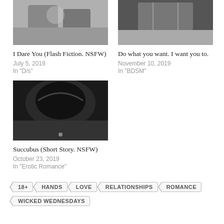[Figure (photo): Black and white photo of hands, top left card]
I Dare You (Flash Fiction. NSFW)
July 5, 2019
In "D/s"
[Figure (photo): Black and white photo of a person, top right card]
Do what you want. I want you to.
November 10, 2019
In "BDSM"
[Figure (photo): Black and white photo, dark silhouette, bottom left card]
Succubus (Short Story. NSFW)
October 23, 2019
In "Erotic Romance"
18+
HANDS
LOVE
RELATIONSHIPS
ROMANCE
WICKED WEDNESDAYS